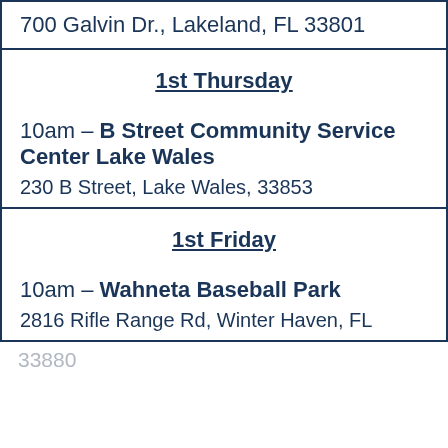700 Galvin Dr., Lakeland, FL 33801
1st Thursday
10am – B Street Community Service Center Lake Wales
230 B Street, Lake Wales, 33853
1st Friday
10am – Wahneta Baseball Park
2816 Rifle Range Rd, Winter Haven, FL
33880